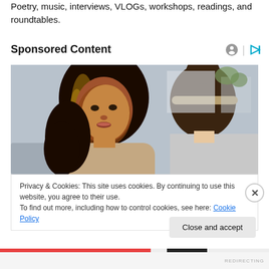Poetry, music, interviews, VLOGs, workshops, readings, and roundtables.
Sponsored Content
[Figure (photo): Two women in conversation — one facing the camera with long highlighted hair wearing a beige cardigan, the other with her back turned wearing a gray headband, in a bright indoor setting]
Privacy & Cookies: This site uses cookies. By continuing to use this website, you agree to their use.
To find out more, including how to control cookies, see here: Cookie Policy
Close and accept